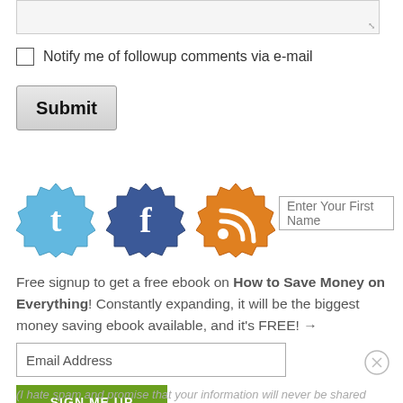[Figure (screenshot): Textarea input field with resize handle at bottom right]
Notify me of followup comments via e-mail
Submit
[Figure (infographic): Three social media badge icons: Twitter (light blue), Facebook (dark blue), RSS (orange), plus an 'Enter Your First Name' text input field]
Free signup to get a free ebook on How to Save Money on Everything! Constantly expanding, it will be the biggest money saving ebook available, and it's FREE! →
Email Address
SIGN ME UP
(I hate spam and promise that your information will never be shared